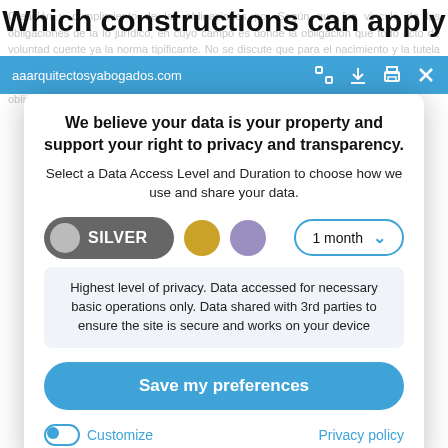Which constructions can apply
aaarquitectosyabogados.com
We believe your data is your property and support your right to privacy and transparency.
Select a Data Access Level and Duration to choose how we use and share your data.
[Figure (infographic): Privacy level selector showing SILVER toggle button (active), gold circle, purple circle, and a '1 month' dropdown selector]
Highest level of privacy. Data accessed for necessary basic operations only. Data shared with 3rd parties to ensure the site is secure and works on your device
Save my preferences
Customize
Privacy policy